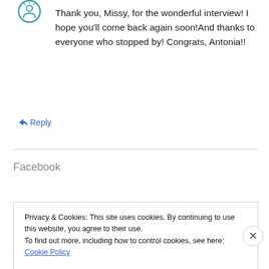[Figure (logo): Teal decorative avatar/icon in top left corner]
Thank you, Missy, for the wonderful interview! I hope you'll come back again soon!And thanks to everyone who stopped by! Congrats, Antonia!!
↳ Reply
Facebook
Privacy & Cookies: This site uses cookies. By continuing to use this website, you agree to their use.
To find out more, including how to control cookies, see here: Cookie Policy
Close and accept